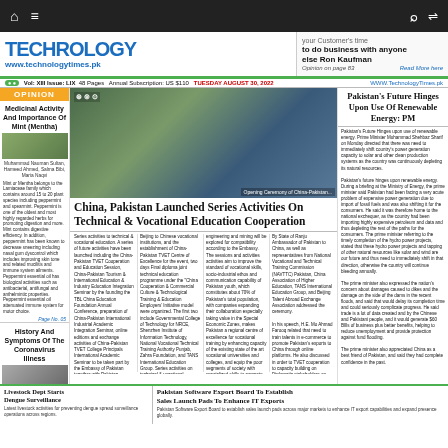TECHNOLOGY - www.technologytimes.pk
Vol: XIII Issue: LIX 48 Pages Annual Subscription: US $110 TUESDAY AUGUST 30, 2022
OPINION
Medicinal Activity And Importance Of Mint (Mentha)
[Figure (photo): Photo related to Medicinal Activity of Mint (Mentha)]
Muhammad Nauman Sultan, Hameed Ahmed, Salma Bibi, Maria Naqvi
Mint or Mentha belongs to the Lamiaceae family which contains around 15 to 20 plant species including peppermint and spearmint...
History And Symptoms Of The Coronavirus Illness
[Figure (photo): Photo of ceremony - China Pakistan Technical & Vocational Education Cooperation]
China, Pakistan Launched Series Activities On Technical & Vocational Education Cooperation
Series activities to technical & vocational education. A series of future activities have been launched including the China-Pakistan TVET Cooperation and Education Session, China-Pakistan Tourism, International Education & Industry Education Integration Seminar, launching the TBL China Education Foundation Annual Conference, preparation of China-Pakistan International Industrial Academic Integration Seminar, online lectures and exchange activities of China-Pakistan TVET College, Principals International Academic Seminar...
Beijing to Chinese vocational institution, and the establishment of China-Pakistan TVET Centre of Excellence. For the event, two days Final diploma joint technical education programme under the 'China Cooperation & Commercial Culture & Technological Training & Education Employers' Initiative model were organized. The first two include Governmental College of Technology for NRCE, Shenzhen Institute of Information Technology, National Vocational & Technical Authority, Punjab, Zahra Foundation, and TANS International Education Group...
Engineering and mining will be explored for compatibility according to the Embassy. The sessions and activities activities aim to improve the standard of vocational skills, socio-industrial ethos and communication capability of Pakistan youth, which constitutes about 70% of Pakistan's total population, with companies expanding their collaboration into the Special Economic Zones, make Pakistan a regional center of excellence for vocational training...
By State of Ranju Ambassador of Pakistan to China, as well as representative from National Vocational and Technical Training Commission (NAVTTC) Pakistan, China Association of Higher Education, TANS International Education Group, and Beijing Talent Abroad Exchange Association addressed the ceremony...
Pakistan's Future Hinges Upon Use Of Renewable Energy: PM
Pakistan's Future Hinges upon use of renewable energy. Prime Minister Muhammad Shehbaz Sharif on Monday directed that there was need to immediately shift country's power generation capacity to solar and other clean production systems as the country was continuously depleting its natural resources...
Pakistan's future hinges upon renewable energy. During a briefing at the Ministry of Energy, the prime minister said Pakistan had been facing a very acute problem of expensive power generation due to import of fossil fuels and was also shifting it for the consumers...
Livestock Dept Starts Dengue Surveillance
Pakistan Software Export Board To Establish Sales Launch Pads To Enhance IT Exports